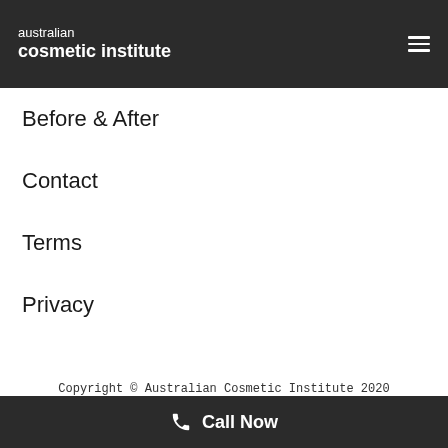australian cosmetic institute
Before & After
Contact
Terms
Privacy
Copyright © Australian Cosmetic Institute 2020
Call Now